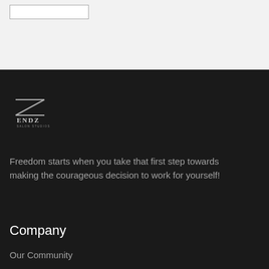[Figure (logo): ENDZ Salon Studios logo with a stylized Z graphic above the text ENDZ and smaller text SALON STUDIOS below]
Freedom starts when you take that first step towards making the courageous decision to work for yourself!
Company
Our Community